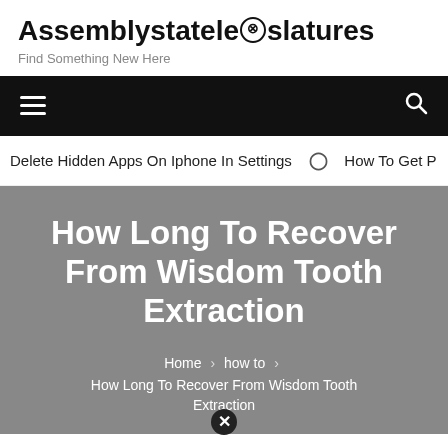Assemblystatelegislatures
Find Something New Here
Navigation bar with hamburger menu and search icon
Delete Hidden Apps On Iphone In Settings  ⊙  How To Get P
How Long To Recover From Wisdom Tooth Extraction
Home > how to > How Long To Recover From Wisdom Tooth Extraction